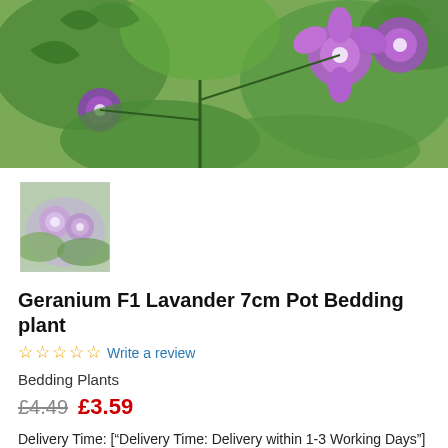[Figure (photo): Large banner photo of purple/lavender geranium flowers with green leaves against a bright background]
[Figure (photo): Small thumbnail image of lavender geranium flowers, serving as a product image selector]
Geranium F1 Lavander 7cm Pot Bedding plant
☆☆☆☆☆ Write a review
Bedding Plants
£4.49  £3.59
Delivery Time: ["Delivery Time: Delivery within 1-3 Working Days"]